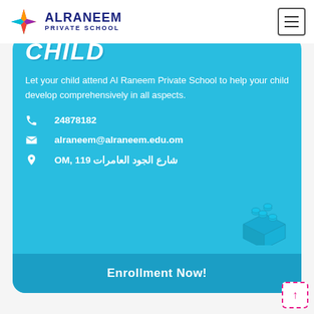ALRANEEM PRIVATE SCHOOL
CHILD
Let your child attend Al Raneem Private School to help your child develop comprehensively in all aspects.
📞 24878182
✉ alraneem@alraneem.edu.om
📍 OM, 119 شارع الجود العامرات
[Figure (illustration): Light blue isometric LEGO brick decoration in background]
Enrollment Now!